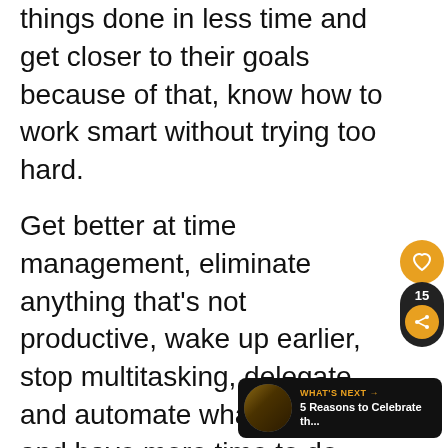things done in less time and get closer to their goals because of that, know how to work smart without trying too hard.
Get better at time management, eliminate anything that’s not productive, wake up earlier, stop multitasking, delegate and automate what you can and have more time to do what matters.
[Figure (other): Social media UI overlay: heart/like button (orange circle with heart icon) and share button (dark pill with count 15 and orange share icon)]
[Figure (other): What's Next widget: dark rounded rectangle with circular thumbnail photo, orange 'WHAT'S NEXT →' label, and white text '5 Reasons to Celebrate th...']